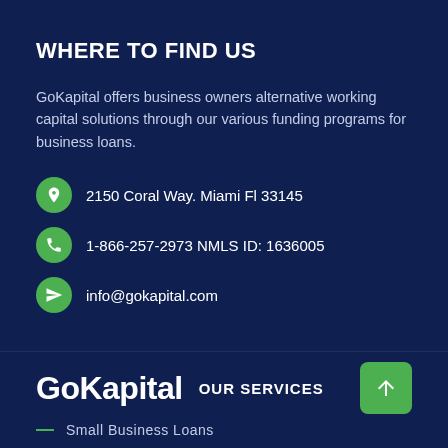WHERE TO FIND US
GoKapital offers business owners alternative working capital solutions through our various funding programs for business loans.
2150 Coral Way. Miami Fl 33145
1-866-257-2973 NMLS ID: 1636005
info@gokapital.com
GoKapital
OUR SERVICES
Small Business Loans